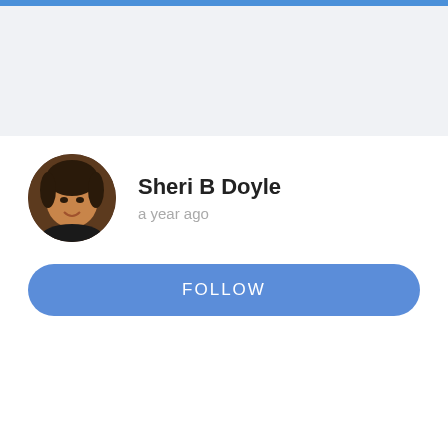[Figure (photo): Blue top navigation bar strip]
[Figure (photo): Light gray header area background]
[Figure (photo): Circular profile photo of Sheri B Doyle, a woman with dark hair, smiling]
Sheri B Doyle
a year ago
FOLLOW